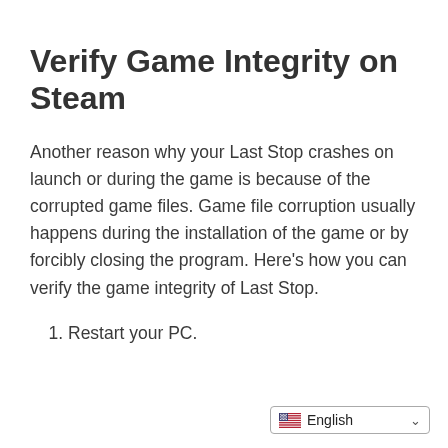Verify Game Integrity on Steam
Another reason why your Last Stop crashes on launch or during the game is because of the corrupted game files. Game file corruption usually happens during the installation of the game or by forcibly closing the program. Here’s how you can verify the game integrity of Last Stop.
1. Restart your PC.